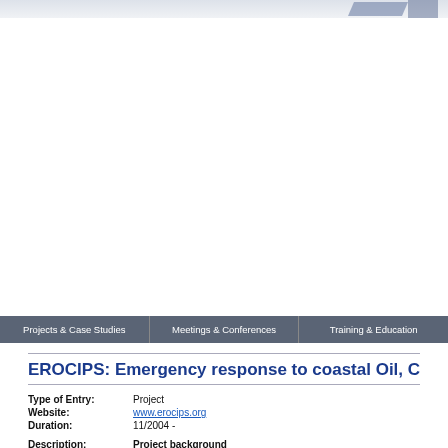EROCIPS website header with navigation
Projects & Case Studies | Meetings & Conferences | Training & Education
EROCIPS: Emergency response to coastal Oil, C...
Type of Entry: Project
Website: www.erocips.org
Duration: 11/2004 -
Description: Project background

In recognition of the challenges posed to regional and local governments, the EROCIPS Partnership has developed a project, with European Partners, to combat oil, chemical and inert pollution.

The Atlantic Area of the European Union has been the scene of a number of incidents: Amoco Cadiz, Betelgeuse, Aegean Sea, Sea Empress, Erika and Pre...